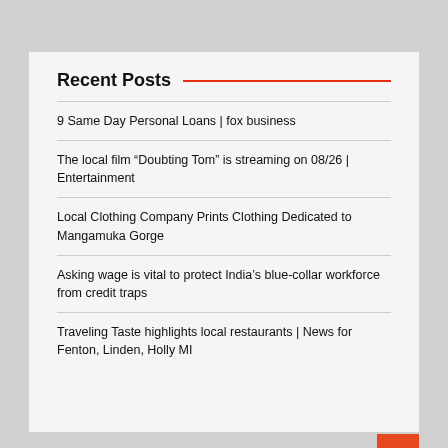Recent Posts
9 Same Day Personal Loans | fox business
The local film “Doubting Tom” is streaming on 08/26 | Entertainment
Local Clothing Company Prints Clothing Dedicated to Mangamuka Gorge
Asking wage is vital to protect India’s blue-collar workforce from credit traps
Traveling Taste highlights local restaurants | News for Fenton, Linden, Holly MI